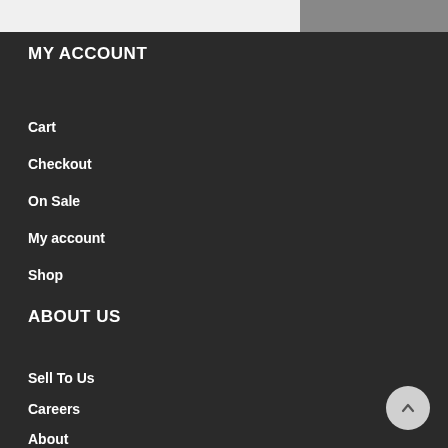[Figure (screenshot): Top bar with a light gray area on the left and a dark gray area on the right]
MY ACCOUNT
Cart
Checkout
On Sale
My account
Shop
ABOUT US
Sell To Us
Careers
About